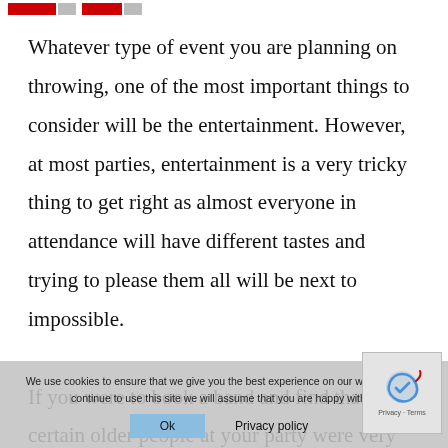[logo bar with red and gray blocks]
Whatever type of event you are planning on throwing, one of the most important things to consider will be the entertainment. However, at most parties, entertainment is a very tricky thing to get right as almost everyone in attendance will have different tastes and trying to please them all will be next to impossible.

If you were to book a band and find that certain older people at your party were very vocal about the band being terrible and completely inappropriate despite the many dancing youngsters suggesting the contrary. You certainly wouldn't be the first and having people moan about the entertainment you have chosen can seriously